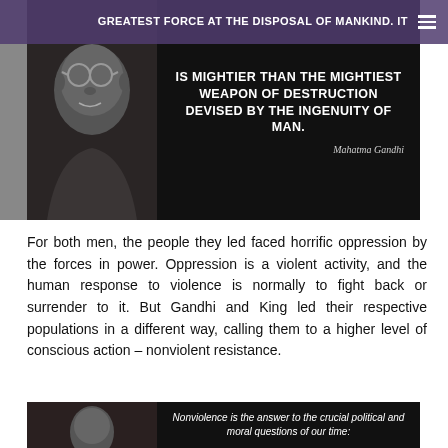[Figure (photo): Black and white photo of Mahatma Gandhi with overlaid quote text: 'GREATEST FORCE AT THE DISPOSAL OF MANKIND. IT IS MIGHTIER THAN THE MIGHTIEST WEAPON OF DESTRUCTION DEVISED BY THE INGENUITY OF MAN.' with signature 'Mahatma Gandhi']
For both men, the people they led faced horrific oppression by the forces in power. Oppression is a violent activity, and the human response to violence is normally to fight back or surrender to it. But Gandhi and King led their respective populations in a different way, calling them to a higher level of conscious action – nonviolent resistance.
[Figure (photo): Black and white photo of Martin Luther King Jr. with overlaid quote beginning: 'Nonviolence is the answer to the crucial political and moral questions of our time:']